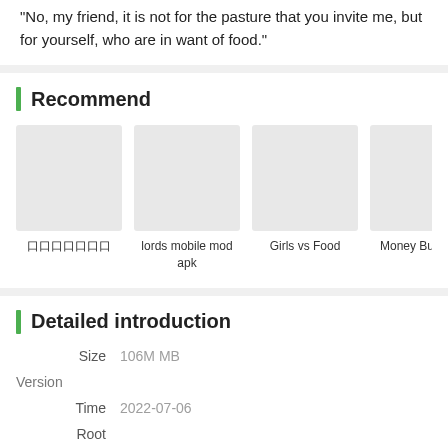"No, my friend, it is not for the pasture that you invite me, but for yourself, who are in want of food."
Recommend
[Figure (other): Four recommendation thumbnail images in a horizontal row, showing placeholder gray boxes with labels: 口口口口口口口, lords mobile mod apk, Girls vs Food, Money Buste]
Detailed introduction
Size  106M MB
Version
Time  2022-07-06
Root